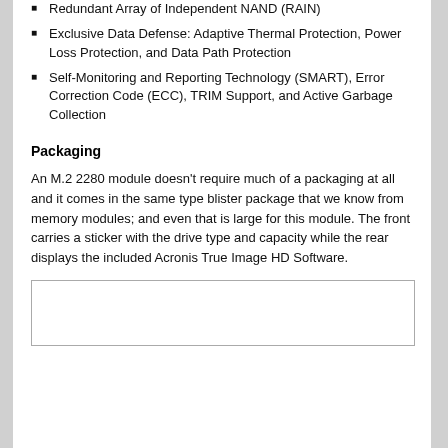Redundant Array of Independent NAND (RAIN)
Exclusive Data Defense: Adaptive Thermal Protection, Power Loss Protection, and Data Path Protection
Self-Monitoring and Reporting Technology (SMART), Error Correction Code (ECC), TRIM Support, and Active Garbage Collection
Packaging
An M.2 2280 module doesn't require much of a packaging at all and it comes in the same type blister package that we know from memory modules; and even that is large for this module. The front carries a sticker with the drive type and capacity while the rear displays the included Acronis True Image HD Software.
[Figure (photo): Blister packaging photo placeholder]